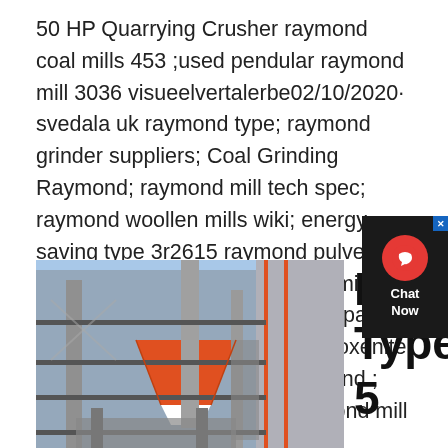50 HP Quarrying Crusher raymond coal mills 453 ;used pendular raymond mill 3036 visueelvertalerbe02/10/2020· svedala uk raymond type; raymond grinder suppliers; Coal Grinding Raymond; raymond mill tech spec; raymond woollen mills wiki; energy saving type 3r2615 raymond pulverizer raymond mill raymond grinding mill; Illinois Gear Raymond Mill; feldspar mineral raymond mill olivine pyroxenite mill machine; mill kerucut raymond ; direct factory outlet sizeof raymond mill f rajasthan
[Figure (photo): Industrial raymond mill / grinding mill facility exterior photograph showing a multi-story steel structure with orange and white hopper/cone elements, metal walkways, staircases, pipes and ducts against a building facade with orange stripe accents.]
New Type 5